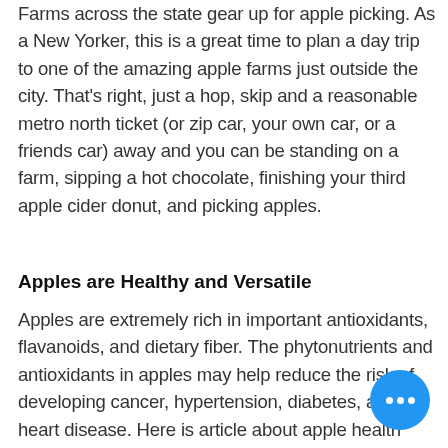Farms across the state gear up for apple picking. As a New Yorker, this is a great time to plan a day trip to one of the amazing apple farms just outside the city. That's right, just a hop, skip and a reasonable metro north ticket (or zip car, your own car, or a friends car) away and you can be standing on a farm, sipping a hot chocolate, finishing your third apple cider donut, and picking apples.
Apples are Healthy and Versatile
Apples are extremely rich in important antioxidants, flavanoids, and dietary fiber. The phytonutrients and antioxidants in apples may help reduce the risk of developing cancer, hypertension, diabetes, and heart disease. Here is article about apple health benefits.